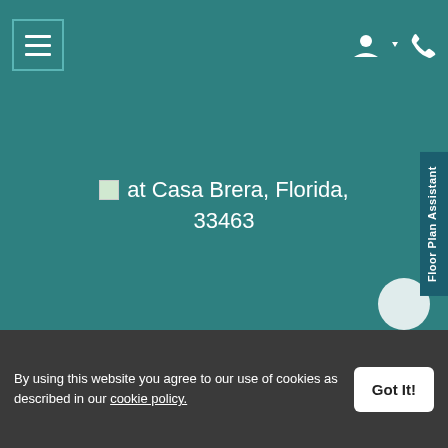[Figure (screenshot): Mobile website navigation bar with hamburger menu icon on left and account/phone icons on right, teal background]
at Casa Brera, Florida, 33463
Floor Plan Assistant
By using this website you agree to our use of cookies as described in our cookie policy.
Got It!